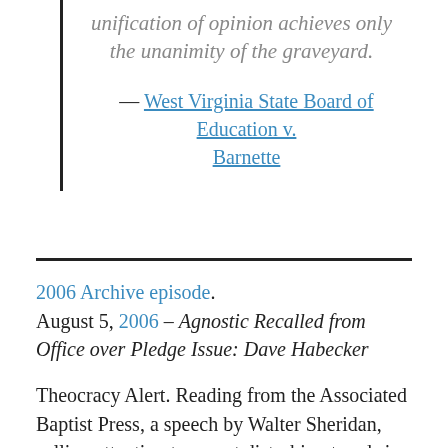unification of opinion achieves only the unanimity of the graveyard.
— West Virginia State Board of Education v. Barnette
2006 Archive episode.
August 5, 2006 – Agnostic Recalled from Office over Pledge Issue: Dave Habecker
Theocracy Alert. Reading from the Associated Baptist Press, a speech by Walter Sheridan, calling attention to recent disturbing trends in religion. The continuing saga of the Mt. Solidad